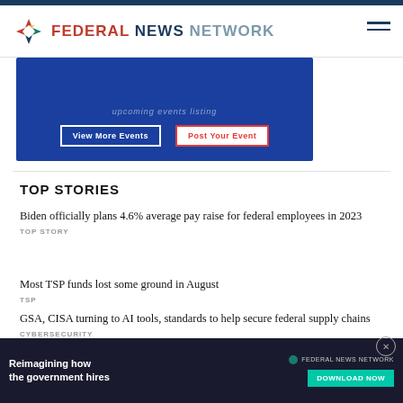FEDERAL NEWS NETWORK
[Figure (screenshot): Blue events banner with 'View More Events' and 'Post Your Event' buttons]
TOP STORIES
Biden officially plans 4.6% average pay raise for federal employees in 2023
TOP STORY
Most TSP funds lost some ground in August
TSP
GSA, CISA turning to AI tools, standards to help secure federal supply chains
CYBERSECURITY
Air Force
AIR FORCE
[Figure (screenshot): Ad banner: Reimagining how the government hires — Federal News Network — Download Now]